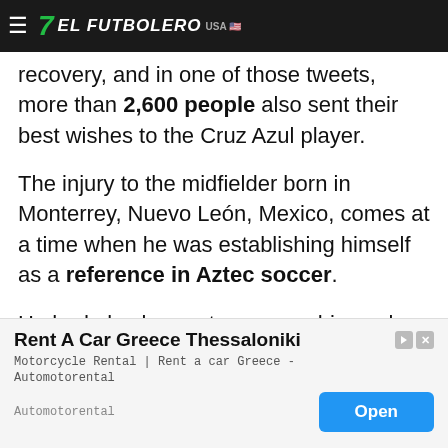EL FUTBOLERO USA
recovery, and in one of those tweets, more than 2,600 people also sent their best wishes to the Cruz Azul player.
The injury to the midfielder born in Monterrey, Nuevo León, Mexico, comes at a time when he was establishing himself as a reference in Aztec soccer.
He had also begun to uncover his goal scoring prowess with that club and with Cruz Azul and had even taken the place of Andrés Guardado in the National Team when the team's captain was injured
[Figure (screenshot): Advertisement banner: Rent A Car Greece Thessaloniki - Motorcycle Rental | Rent a car Greece - Automotorental. With Open button.]